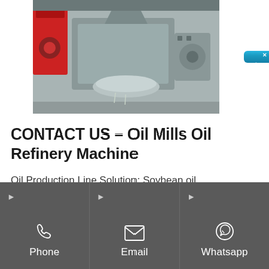[Figure (photo): Industrial oil press machinery in a factory — gray metal equipment with a red machine on the left side]
CONTACT US - Oil Mills Oil Refinery Machine
Oil Production Line Solution; Soybean oil processing plant Soya Oil Refining Factory International Sale Dept. Add a competitive
在线咨询
Phone
Email
Whatsapp